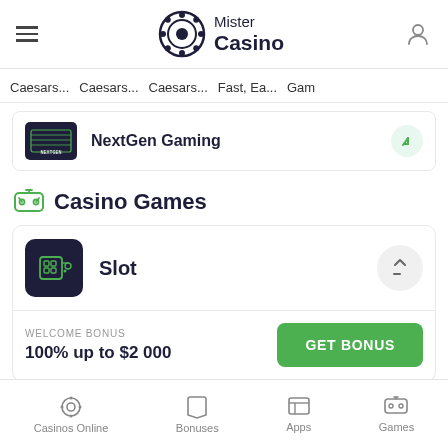Mister Casino
Caesars... Caesars... Caesars... Fast, Ea... Gam
NextGen Gaming
Casino Games
Slot
WELCOME BONUS
100% up to $2 000
GET BONUS
Casinos Online  Bonuses  Apps  Games